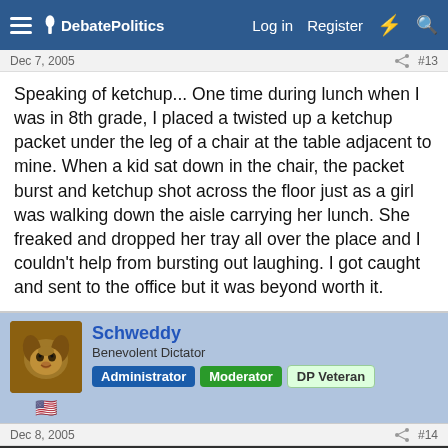DebatePolitics — Log in  Register
Dec 7, 2005   #13
Speaking of ketchup... One time during lunch when I was in 8th grade, I placed a twisted up a ketchup packet under the leg of a chair at the table adjacent to mine. When a kid sat down in the chair, the packet burst and ketchup shot across the floor just as a girl was walking down the aisle carrying her lunch. She freaked and dropped her tray all over the place and I couldn't help from bursting out laughing. I got caught and sent to the office but it was beyond worth it.
Schweddy — Benevolent Dictator  Administrator  Moderator  DP Veteran
Dec 8, 2005   #14
This site uses cookies to help personalise content, tailor your experience and to keep you logged in if you register.
By continuing to use this site, you are consenting to our use of cookies.
Accept   Learn more...